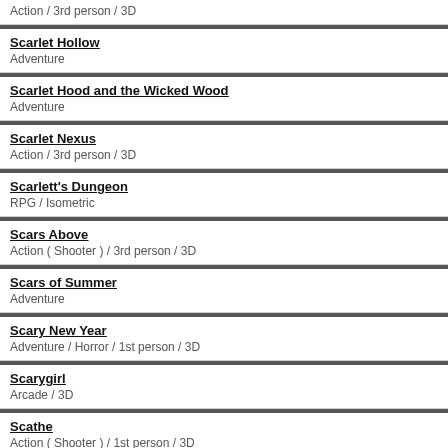Action / 3rd person / 3D
Scarlet Hollow
Adventure
Scarlet Hood and the Wicked Wood
Adventure
Scarlet Nexus
Action / 3rd person / 3D
Scarlett's Dungeon
RPG / Isometric
Scars Above
Action ( Shooter ) / 3rd person / 3D
Scars of Summer
Adventure
Scary New Year
Adventure / Horror / 1st person / 3D
Scarygirl
Arcade / 3D
Scathe
Action ( Shooter ) / 1st person / 3D
Scavengers
Action ( Shooter ) / 1st person / 3D